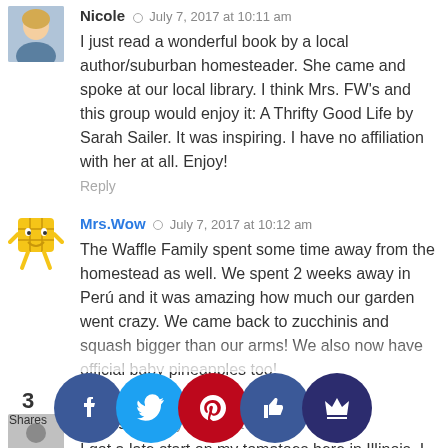[Figure (photo): Profile photo of Nicole, a woman with blonde hair, cropped at top]
Nicole · July 7, 2017 at 10:11 am
I just read a wonderful book by a local author/suburban homesteader. She came and spoke at our local library. I think Mrs. FW's and this group would enjoy it: A Thrifty Good Life by Sarah Sailer. It was inspiring. I have no affiliation with her at all. Enjoy!
Reply
[Figure (illustration): Cartoon waffle character avatar for Mrs.Wow]
Mrs.Wow · July 7, 2017 at 10:12 am
The Waffle Family spent some time away from the homestead as well. We spent 2 weeks away in Perú and it was amazing how much our garden went crazy. We came back to zucchinis and squash bigger than our arms! We also now have official baby pineapples too!
Reply
[Figure (illustration): Generic grey avatar placeholder for Chrissy]
Chrissy · July 7, 2017 at 10:25 am
I got a late start on my tomatoes here in Illinois. I didn't think a few weeks would matter, but mine are still in the toddler-stage while my industrious neighbors' have tall, gangly teenage tomato plants. However: by August we'll just want to be begging each other to take some off our hands! Happy summer to all!